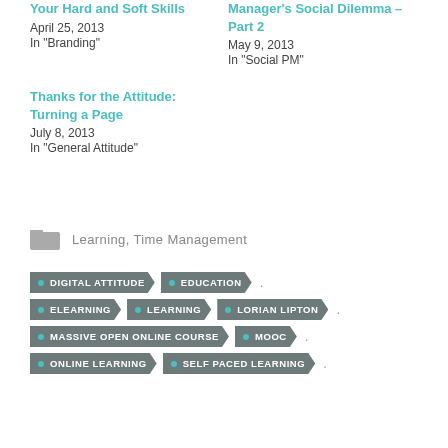Your Hard and Soft Skills
April 25, 2013
In "Branding"
Manager's Social Dilemma – Part 2
May 9, 2013
In "Social PM"
Thanks for the Attitude: Turning a Page
July 8, 2013
In "General Attitude"
Learning, Time Management
DIGITAL ATTITUDE
EDUCATION
ELEARNING
LEARNING
LORIAN LIPTON
MASSIVE OPEN ONLINE COURSE
MOOC
ONLINE LEARNING
SELF PACED LEARNING